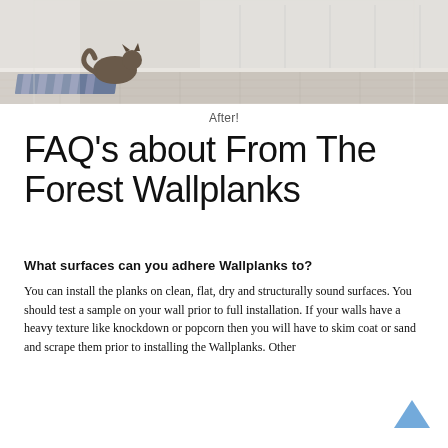[Figure (photo): Interior hallway photo showing a cat on a light hardwood floor with a striped rug. The right side shows a white paneled wall. Caption reads 'After!']
After!
FAQ’s about From The Forest Wallplanks
What surfaces can you adhere Wallplanks to?
You can install the planks on clean, flat, dry and structurally sound surfaces. You should test a sample on your wall prior to full installation. If your walls have a heavy texture like knockdown or popcorn then you will have to skim coat or sand and scrape them prior to installing the Wallplanks. Other